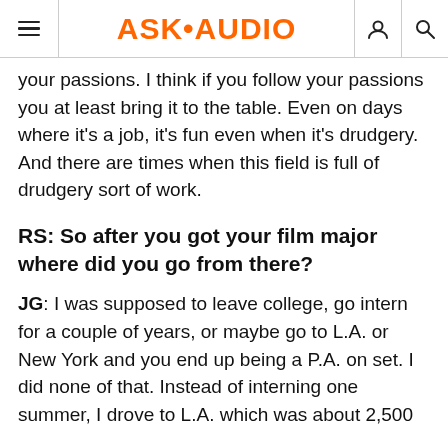ASK•AUDIO
your passions. I think if you follow your passions you at least bring it to the table. Even on days where it's a job, it's fun even when it's drudgery. And there are times when this field is full of drudgery sort of work.
RS: So after you got your film major where did you go from there?
JG: I was supposed to leave college, go intern for a couple of years, or maybe go to L.A. or New York and you end up being a P.A. on set. I did none of that. Instead of interning one summer, I drove to L.A. which was about 2,500